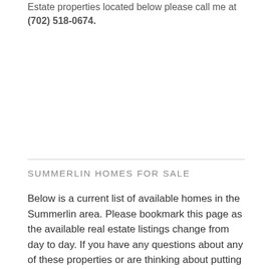Estate properties located below please call me at (702) 518-0674.
SUMMERLIN HOMES FOR SALE
Below is a current list of available homes in the Summerlin area. Please bookmark this page as the available real estate listings change from day to day. If you have any questions about any of these properties or are thinking about putting your home on the market please call me at (702) 518-0674.